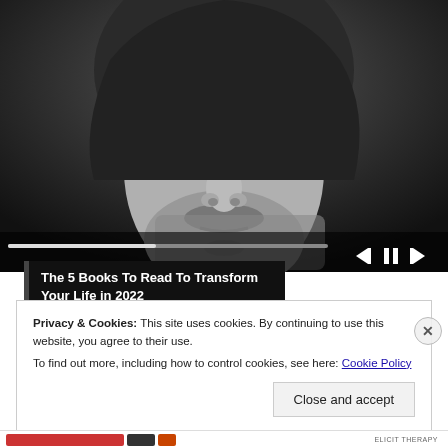[Figure (screenshot): Black and white close-up photo of a man with round glasses and a beard, with media player controls overlaid at the bottom showing skip back, pause, and skip forward buttons, and a progress bar]
The 5 Books To Read To Transform Your Life in 2022
Privacy & Cookies: This site uses cookies. By continuing to use this website, you agree to their use.
To find out more, including how to control cookies, see here: Cookie Policy
Close and accept